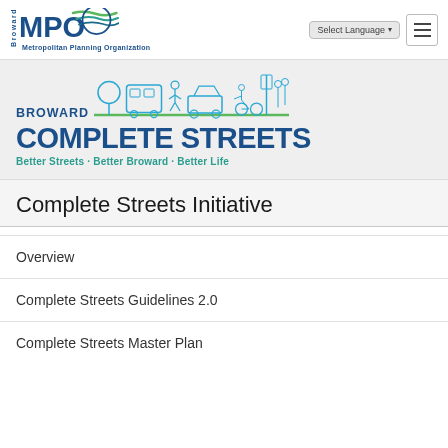[Figure (logo): Broward MPO (Metropolitan Planning Organization) logo with blue MPO text and green swoosh wave design]
[Figure (logo): Broward Complete Streets logo with illustrated street scene icons showing trees, bus, pedestrians, car, cyclist, and people; tagline: Better Streets · Better Broward · Better Life]
Complete Streets Initiative
Overview
Complete Streets Guidelines 2.0
Complete Streets Master Plan